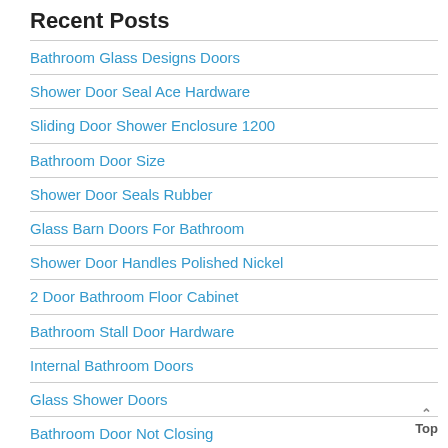Recent Posts
Bathroom Glass Designs Doors
Shower Door Seal Ace Hardware
Sliding Door Shower Enclosure 1200
Bathroom Door Size
Shower Door Seals Rubber
Glass Barn Doors For Bathroom
Shower Door Handles Polished Nickel
2 Door Bathroom Floor Cabinet
Bathroom Stall Door Hardware
Internal Bathroom Doors
Glass Shower Doors
Bathroom Door Not Closing
Shower Door Seal 4mm